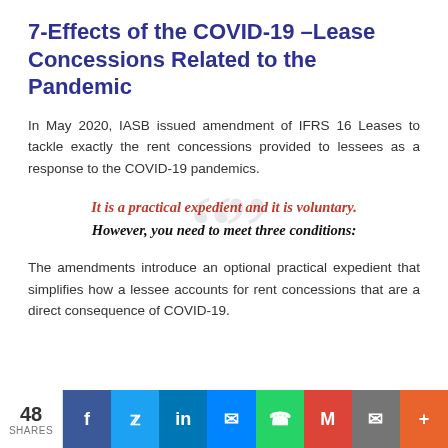7-Effects of the COVID-19 –Lease Concessions Related to the Pandemic
In May 2020, IASB issued amendment of IFRS 16 Leases to tackle exactly the rent concessions provided to lessees as a response to the COVID-19 pandemics.
It is a practical expedient and it is voluntary.
However, you need to meet three conditions:
The amendments introduce an optional practical expedient that simplifies how a lessee accounts for rent concessions that are a direct consequence of COVID-19.